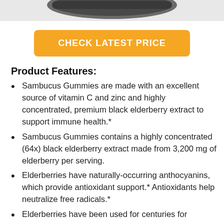[Figure (photo): Partial view of a product jar/container at the top of the page, cropped]
CHECK LATEST PRICE
Product Features:
Sambucus Gummies are made with an excellent source of vitamin C and zinc and highly concentrated, premium black elderberry extract to support immune health.*
Sambucus Gummies contains a highly concentrated (64x) black elderberry extract made from 3,200 mg of elderberry per serving.
Elderberries have naturally-occurring anthocyanins, which provide antioxidant support.* Antioxidants help neutralize free radicals.*
Elderberries have been used for centuries for